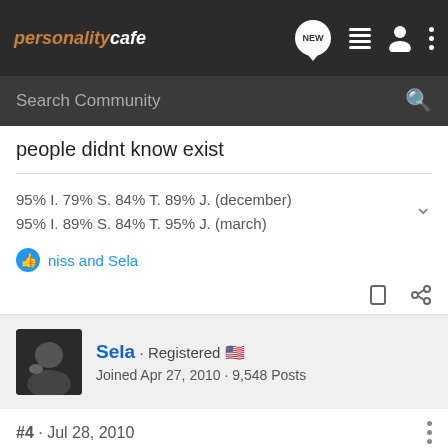personalitycafe
people didnt know exist
95% I. 79% S. 84% T. 89% J. (december)
95% I. 89% S. 84% T. 95% J. (march)
niss and Sela
Sela · Registered  Joined Apr 27, 2010 · 9,548 Posts
#4 · Jul 28, 2010
I completely understand where you're coming from on this. In my opinion, it'll become more tolerable the older you get. At